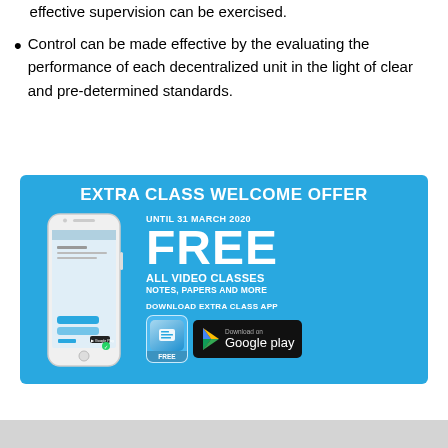effective supervision can be exercised.
Control can be made effective by the evaluating the performance of each decentralized unit in the light of clear and pre-determined standards.
[Figure (infographic): Extra Class Welcome Offer advertisement banner. Blue background with text: EXTRA CLASS WELCOME OFFER, UNTIL 31 MARCH 2020, FREE, ALL VIDEO CLASSES, NOTES, PAPERS AND MORE, DOWNLOAD EXTRA CLASS APP. Shows a smartphone with 'Download the app and study for free' and Google Play download button.]